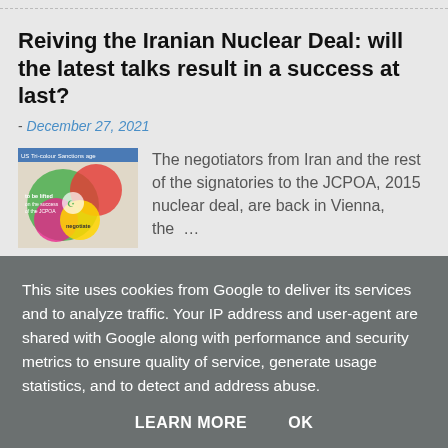Reiving the Iranian Nuclear Deal: will the latest talks result in a success at last?
- December 27, 2021
[Figure (illustration): Thumbnail image showing colorful circles and text about US sanctions and JCPOA negotiation]
The negotiators from Iran and the rest of the signatories to the JCPOA, 2015 nuclear deal, are back in Vienna, the …
READ MORE
This site uses cookies from Google to deliver its services and to analyze traffic. Your IP address and user-agent are shared with Google along with performance and security metrics to ensure quality of service, generate usage statistics, and to detect and address abuse.
LEARN MORE    OK